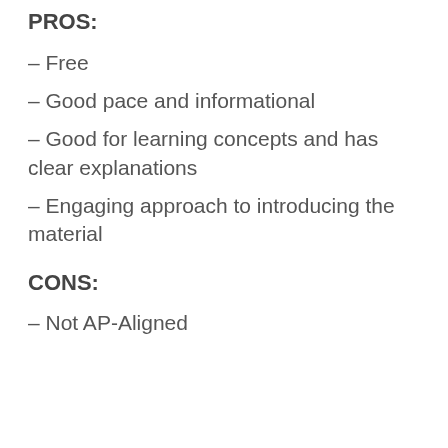PROS:
– Free
– Good pace and informational
– Good for learning concepts and has clear explanations
– Engaging approach to introducing the material
CONS:
– Not AP-Aligned